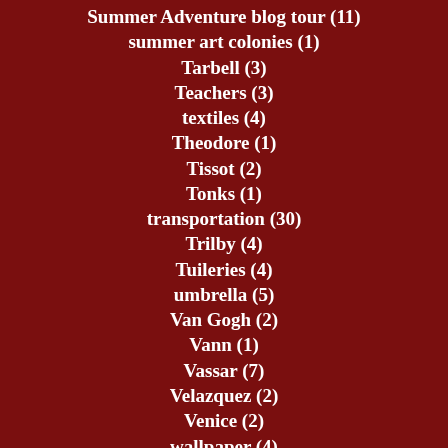Summer Adventure blog tour (11)
summer art colonies (1)
Tarbell (3)
Teachers (3)
textiles (4)
Theodore (1)
Tissot (2)
Tonks (1)
transportation (30)
Trilby (4)
Tuileries (4)
umbrella (5)
Van Gogh (2)
Vann (1)
Vassar (7)
Velazquez (2)
Venice (2)
wallpaper (4)
Walter Gay (7)